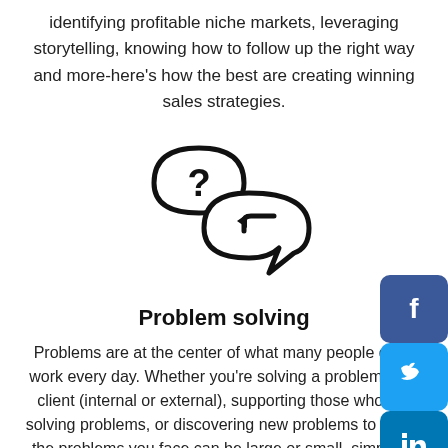identifying profitable niche markets, leveraging storytelling, knowing how to follow up the right way and more-here's how the best are creating winning sales strategies.
[Figure (illustration): Two speech bubbles icon — one with a question mark and one with a reply/return arrow, representing problem solving]
Problem solving
Problems are at the center of what many people do at work every day. Whether you're solving a problem for a client (internal or external), supporting those who are solving problems, or discovering new problems to solve, the problems you face can be large or small, simple or complex, easy or difficult.